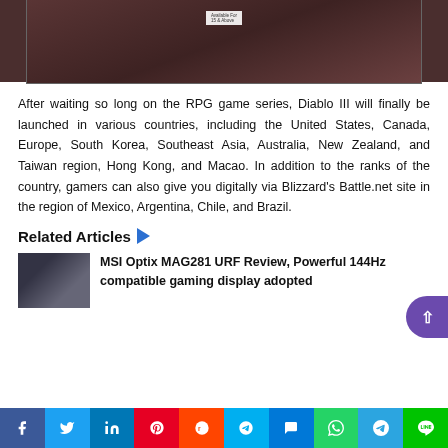[Figure (photo): Dark-toned hero image showing gaming-related content, partially visible at top of page]
After waiting so long on the RPG game series, Diablo III will finally be launched in various countries, including the United States, Canada, Europe, South Korea, Southeast Asia, Australia, New Zealand, and Taiwan region, Hong Kong, and Macao. In addition to the ranks of the country, gamers can also give you digitally via Blizzard’s Battle.net site in the region of Mexico, Argentina, Chile, and Brazil.
Related Articles
[Figure (photo): Thumbnail image for MSI Optix MAG281 URF Review article showing a monitor]
MSI Optix MAG281 URF Review, Powerful 144Hz compatible gaming display adopted